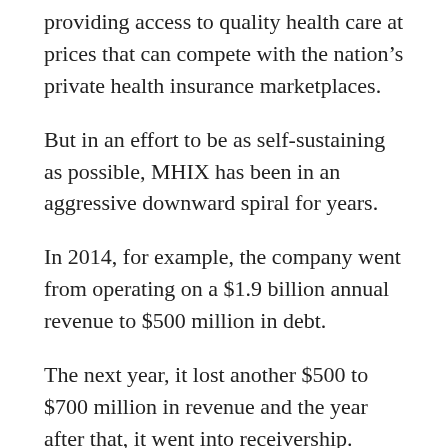providing access to quality health care at prices that can compete with the nation's private health insurance marketplaces.
But in an effort to be as self-sustaining as possible, MHIX has been in an aggressive downward spiral for years.
In 2014, for example, the company went from operating on a $1.9 billion annual revenue to $500 million in debt.
The next year, it lost another $500 to $700 million in revenue and the year after that, it went into receivership.
The company also ran into financial troubles, with $2 billion in losses in 2016 alone.